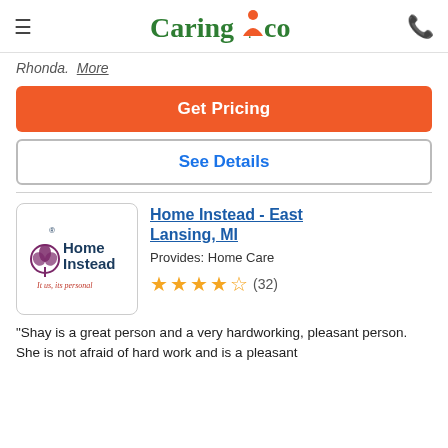Caring.com
Rhonda.  More
Get Pricing
See Details
[Figure (logo): Home Instead logo with tulip icon and tagline 'It's us, it's personal']
Home Instead - East Lansing, MI
Provides: Home Care
★★★★½ (32)
"Shay is a great person and a very hardworking, pleasant person. She is not afraid of hard work and is a pleasant